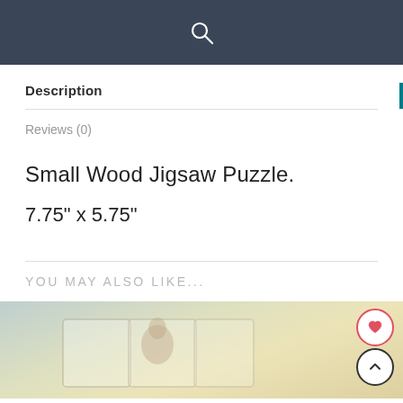Description
Reviews (0)
Small Wood Jigsaw Puzzle.
7.75" x 5.75"
YOU MAY ALSO LIKE...
[Figure (photo): Jigsaw puzzle product image showing puzzle pieces with a religious figure, with a heart/wishlist button and scroll-to-top button overlaid]